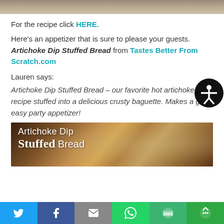[Figure (photo): Top portion of a food photo, partially cropped]
For the recipe click HERE.
Here’s an appetizer that is sure to please your guests. Artichoke Dip Stuffed Bread from Tastes Better From Scratch.com
Lauren says:
Artichoke Dip Stuffed Bread – our favorite hot artichoke recipe stuffed into a delicious crusty baguette. Makes a great easy party appetizer!
[Figure (photo): Food photo of Artichoke Dip Stuffed Bread with text overlay reading 'Artichoke Dip Stuffed Bread']
[Figure (other): Social sharing bar with Twitter, Facebook, Email, WhatsApp, SMS, and More buttons]